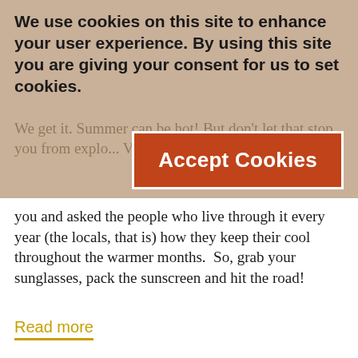We use cookies on this site to enhance your user experience. By using this site you are giving your consent for us to set cookies.
[Figure (screenshot): Accept Cookies button with terracotta/red-brown background and white text, with white border]
We get it. Summer can be hot! But don't let that stop you from exploring Clare Valley! We've taken the research out for you and asked the people who live through it every year (the locals, that is) how they keep their cool throughout the warmer months.  So, grab your sunglasses, pack the sunscreen and hit the road!
Read more